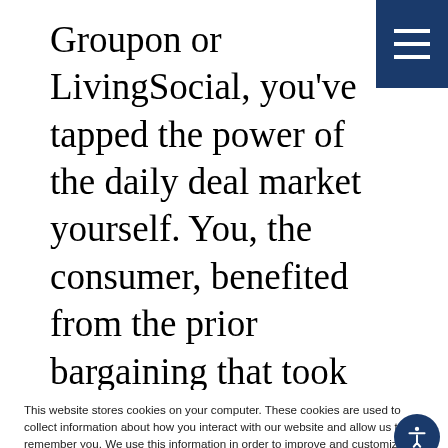Groupon or LivingSocial, you've tapped the power of the daily deal market yourself. You, the consumer, benefited from the prior bargaining that took place between that big online platform and the merchant, resulting in a lower price for you.
This website stores cookies on your computer. These cookies are used to collect information about how you interact with our website and allow us to remember you. We use this information in order to improve and customize your browsing experience and for analytics and metrics about our visitors both on this website and other media. To find out more about the cookies we use, see our Privacy Policy.
If you decline, your information won't be tracked when you visit this website. A single cookie will be used in your browser to remember your preference not to be tracked.